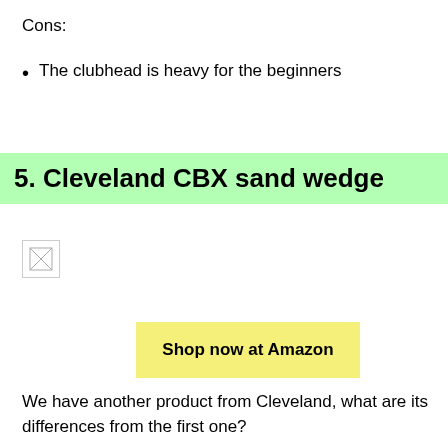Cons:
The clubhead is heavy for the beginners
5. Cleveland CBX sand wedge
[Figure (photo): Broken/missing image placeholder for Cleveland CBX sand wedge product photo]
Shop now at Amazon
We have another product from Cleveland, what are its differences from the first one?